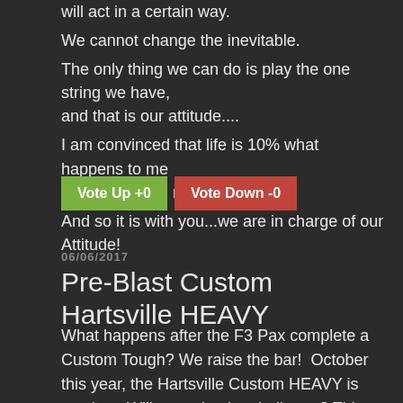will act in a certain way.
We cannot change the inevitable.
The only thing we can do is play the one string we have, and that is our attitude....
I am convinced that life is 10% what happens to me and 90% how I react to it.
And so it is with you...we are in charge of our Attitude!
Vote Up +0   Vote Down -0
06/06/2017
Pre-Blast Custom Hartsville HEAVY
What happens after the F3 Pax complete a Custom Tough? We raise the bar!  October this year, the Hartsville Custom HEAVY is coming.  Will you take the challenge? This will be an event your peers would never dream of